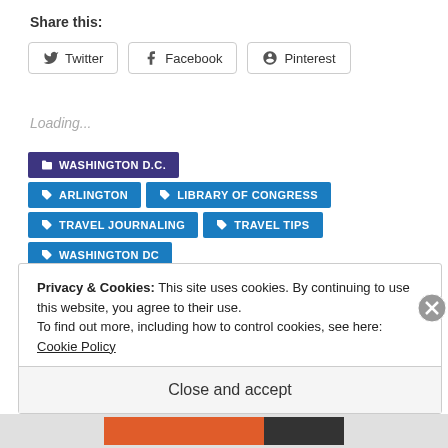Share this:
Twitter | Facebook | Pinterest (share buttons)
Loading...
WASHINGTON D.C.
ARLINGTON
LIBRARY OF CONGRESS
TRAVEL JOURNALING
TRAVEL TIPS
WASHINGTON DC
Privacy & Cookies: This site uses cookies. By continuing to use this website, you agree to their use.
To find out more, including how to control cookies, see here: Cookie Policy
Close and accept